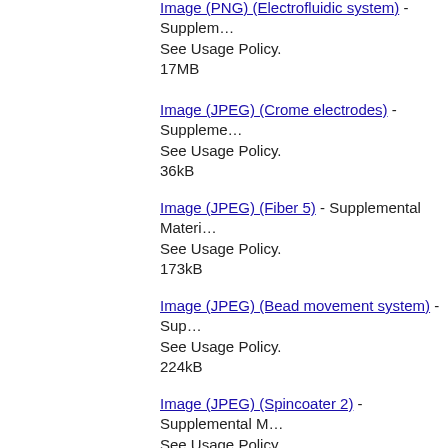Image (PNG) (Electrofluidic system) - Supplemental Material. See Usage Policy. 17MB
Image (JPEG) (Crome electrodes) - Supplemental Material. See Usage Policy. 36kB
Image (JPEG) (Fiber 5) - Supplemental Material. See Usage Policy. 173kB
Image (JPEG) (Bead movement system) - Supplemental Material. See Usage Policy. 224kB
Image (JPEG) (Spincoater 2) - Supplemental Material. See Usage Policy. 23kB
Image (PNG) (Quenchiplexing PCR graph) - Supplemental Material. See Usage Policy. 93kB
Image (JPEG) (Bead alinement) - Supplemental Material. See Usage Policy. 18kB
Image (JPEG) (PDMS mask) - Supplemental Material. See Usage Policy. 42kB
Image (JPEG) (Bead movement system running) - Supplemental Material. See Usage Policy. 319kB